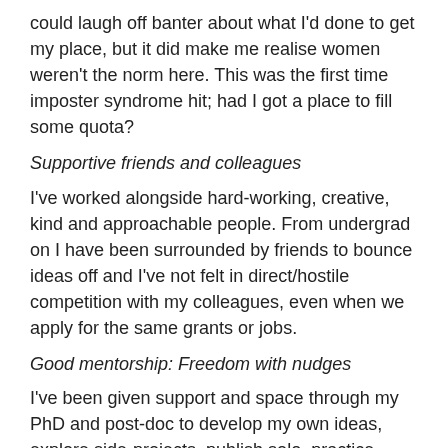could laugh off banter about what I'd done to get my place, but it did make me realise women weren't the norm here. This was the first time imposter syndrome hit; had I got a place to fill some quota?
Supportive friends and colleagues
I've worked alongside hard-working, creative, kind and approachable people. From undergrad on I have been surrounded by friends to bounce ideas off and I've not felt in direct/hostile competition with my colleagues, even when we apply for the same grants or jobs.
Good mentorship: Freedom with nudges
I've been given support and space through my PhD and post-doc to develop my own ideas, explore side-projects, publish solo, practice writing grants, travel and build a network. I've also been nudged to think through how to manage my career and encouraged to apply for jobs or fellowships even if the odds are tough.
Luck – Roadblocks I didn't hit